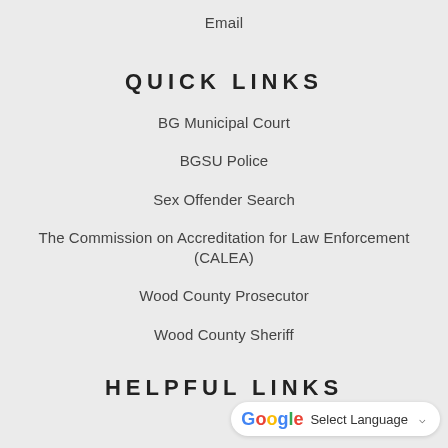Email
QUICK LINKS
BG Municipal Court
BGSU Police
Sex Offender Search
The Commission on Accreditation for Law Enforcement (CALEA)
Wood County Prosecutor
Wood County Sheriff
HELPFUL LINKS
[Figure (other): Google Translate widget button with G logo and 'Select Language' dropdown]